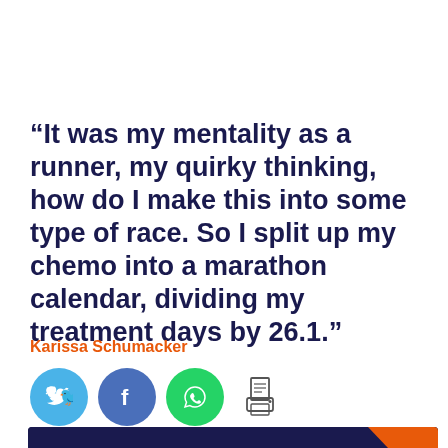“It was my mentality as a runner, my quirky thinking, how do I make this into some type of race. So I split up my chemo into a marathon calendar, dividing my treatment days by 26.1.”
Karissa Schumacker
[Figure (infographic): Social sharing buttons: Twitter (blue circle with bird icon), Facebook (blue circle with f icon), WhatsApp (green circle with phone icon), and a print icon (document/printer graphic)]
[Figure (photo): Dark navy background image showing a person wearing a red cap, partially visible, with an orange chevron/arrow shape on the right side]